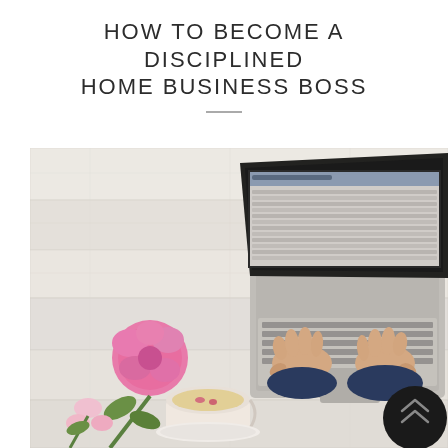How to Become a Disciplined Home Business Boss
[Figure (photo): Top-down view of a woman's hands typing on a laptop on a white wood desk, with pink peonies and a cup of tea on the left side. A dark circular device is visible on the right.]